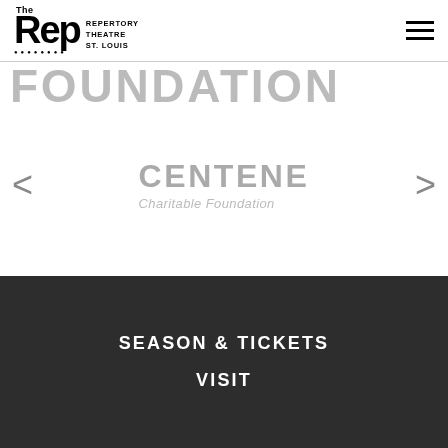The Rep - Repertory Theatre St. Louis
FOUNDATION
[Figure (logo): Centene Charitable Foundation logo in gray]
SEASON & TICKETS
VISIT